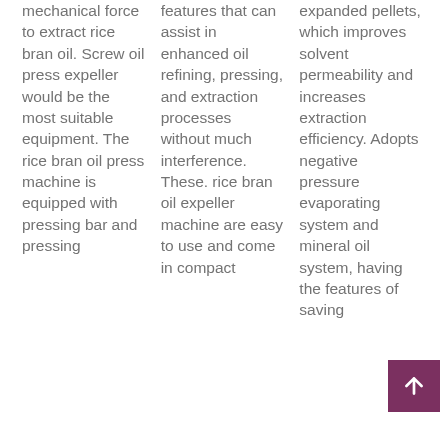mechanical force to extract rice bran oil. Screw oil press expeller would be the most suitable equipment. The rice bran oil press machine is equipped with pressing bar and pressing
features that can assist in enhanced oil refining, pressing, and extraction processes without much interference. These. rice bran oil expeller machine are easy to use and come in compact
expanded pellets, which improves solvent permeability and increases extraction efficiency. Adopts negative pressure evaporating system and mineral oil system, having the features of saving